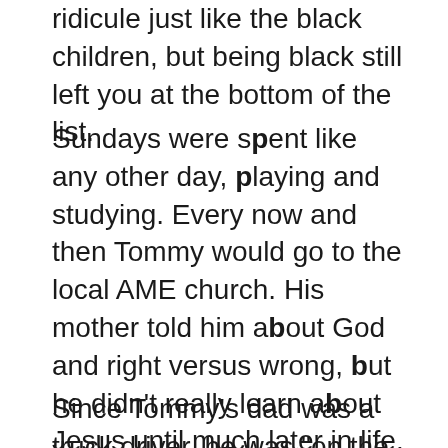ridicule just like the black children, but being black still left you at the bottom of the list.
Sundays were spent like any other day, playing and studying. Every now and then Tommy would go to the local AME church. His mother told him about God and right versus wrong, but he didn't really learn about Jesus until much later in life. That's not to say that Jesus wasn't present in some manner. Tommy just never attended enough church to remember what he was taught. Nevertheless, he somehow began to grasp the meaning of right and wrong and he carried those lessons in his heart.
Since Tommy's dad was a truck driver, he was "on the road" five days a week. When he would